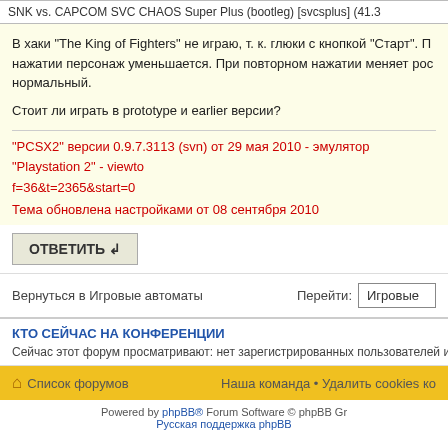SNK vs. CAPCOM SVC CHAOS Super Plus (bootleg) [svcsplus] (41.3...
В хаки "The King of Fighters" не играю, т. к. глюки с кнопкой "Старт". П... нажатии персонаж уменьшается. При повторном нажатии меняет рос... нормальный.
Стоит ли играть в prototype и earlier версии?
"PCSX2" версии 0.9.7.3113 (svn) от 29 мая 2010 - эмулятор "Playstation 2" - viewto... f=36&t=2365&start=0
Тема обновлена настройками от 08 сентября 2010
ОТВЕТИТЬ ↲
Вернуться в Игровые автоматы
Перейти: Игровые
КТО СЕЙЧАС НА КОНФЕРЕНЦИИ
Сейчас этот форум просматривают: нет зарегистрированных пользователей и гости
Список форумов
Наша команда • Удалить cookies ко...
Powered by phpBB® Forum Software © phpBB Gr...
Русская поддержка phpBB